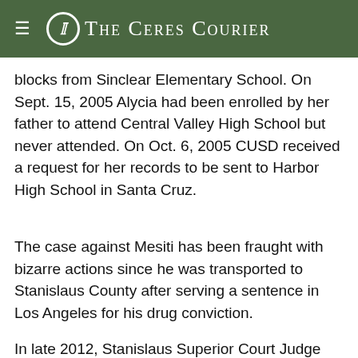The Ceres Courier
blocks from Sinclear Elementary School. On Sept. 15, 2005 Alycia had been enrolled by her father to attend Central Valley High School but never attended. On Oct. 6, 2005 CUSD received a request for her records to be sent to Harbor High School in Santa Cruz.
The case against Mesiti has been fraught with bizarre actions since he was transported to Stanislaus County after serving a sentence in Los Angeles for his drug conviction.
In late 2012, Stanislaus Superior Court Judge John Freeland relieved defense attorney Robert Chase from the case. Chase announced to the court that he had a potential conflict of interest. Chase was designated as Mesiti's "Keenan counsel," or the attorney who would represent Mesiti during the penalty phase